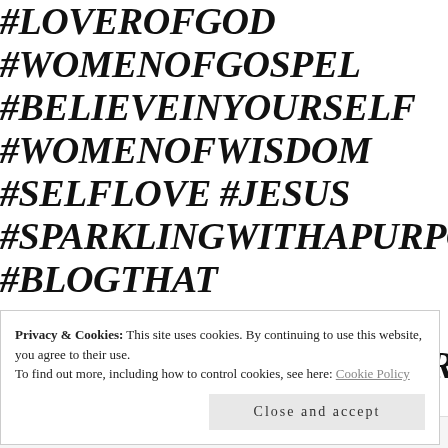#LOVEROFGOD
#WOMENOFGOSPEL
#BELIEVEINYOURSELF
#WOMENOFWISDOM
#SELFLOVE #JESUS
#SPARKLINGWITHAPURPOS
#BLOGTHAT
#PRAYINGWOMEN
#WOMENOFGODMINISTRY
#GIRLPOWERQUOTES
#AFFIRMATIONSFORWOMEN
#WOMENAFFIRMATIONS
Privacy & Cookies: This site uses cookies. By continuing to use this website, you agree to their use.
To find out more, including how to control cookies, see here: Cookie Policy
Close and accept
W VIP   Learn more →